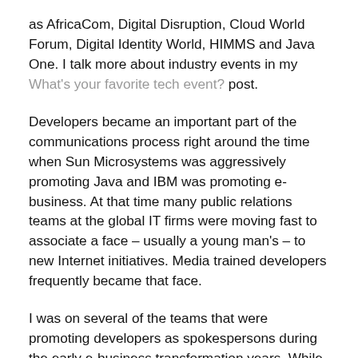as AfricaCom, Digital Disruption, Cloud World Forum, Digital Identity World, HIMMS and Java One. I talk more about industry events in my What's your favorite tech event? post.
Developers became an important part of the communications process right around the time when Sun Microsystems was aggressively promoting Java and IBM was promoting e-business. At that time many public relations teams at the global IT firms were moving fast to associate a face – usually a young man's – to new Internet initiatives. Media trained developers frequently became that face.
I was on several of the teams that were promoting developers as spokespersons during the early e-business transformation years. While those spokespersons were mostly men at the time, it